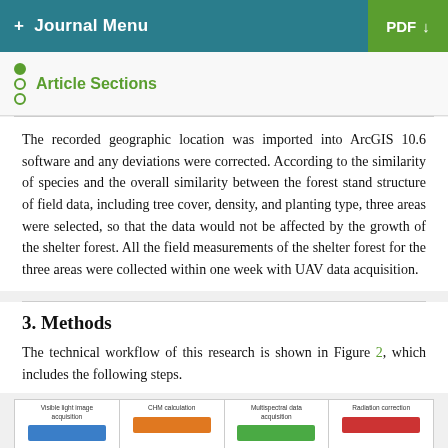+ Journal Menu   PDF ↓
Article Sections
The recorded geographic location was imported into ArcGIS 10.6 software and any deviations were corrected. According to the similarity of species and the overall similarity between the forest stand structure of field data, including tree cover, density, and planting type, three areas were selected, so that the data would not be affected by the growth of the shelter forest. All the field measurements of the shelter forest for the three areas were collected within one week with UAV data acquisition.
3. Methods
The technical workflow of this research is shown in Figure 2, which includes the following steps.
[Figure (flowchart): Partial view of Figure 2 flowchart showing steps: Visible light image acquisition, CHM calculation, Multispectral data acquisition, Radiation correction — with colored bars below each label.]